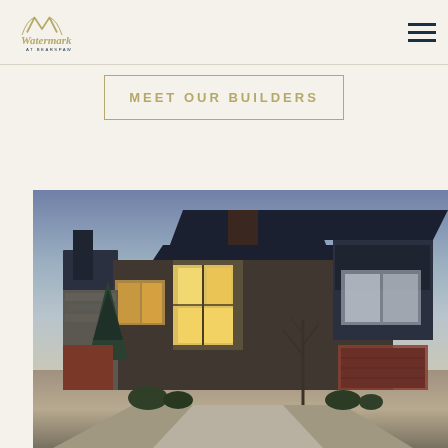Watermark at Bearspaw
MEET OUR BUILDERS
[Figure (photo): Exterior photo of a large luxury modern home at dusk with stone and wood elements, large windows, multiple roof lines, a curved driveway, and landscaping in the foreground.]